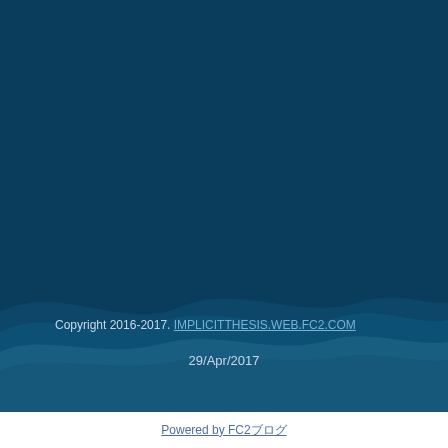[Figure (illustration): Dark blue background with wave shapes at the bottom creating a layered ocean/water effect in varying shades of dark blue]
Copyright 2016-2017. IMPLICITTHESIS.WEB.FC2.COM
29/Apr/2017
Powered by FC2ブログ